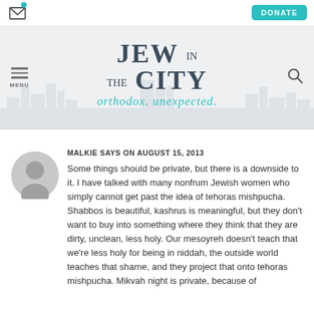DONATE
[Figure (logo): Jew in the City logo with tagline 'orthodox. unexpected.']
MALKIE SAYS ON AUGUST 15, 2013

Some things should be private, but there is a downside to it. I have talked with many nonfrum Jewish women who simply cannot get past the idea of tehoras mishpucha. Shabbos is beautiful, kashrus is meaningful, but they don't want to buy into something where they think that they are dirty, unclean, less holy. Our mesoyreh doesn't teach that we're less holy for being in niddah, the outside world teaches that shame, and they project that onto tehoras mishpucha. Mikvah night is private, because of